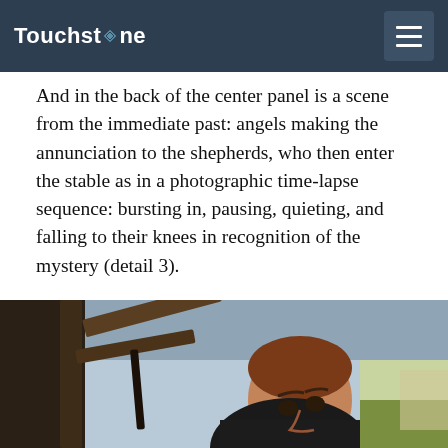Touchstone
And in the back of the center panel is a scene from the immediate past: angels making the annunciation to the shepherds, who then enter the stable as in a photographic time-lapse sequence: bursting in, pausing, quieting, and falling to their knees in recognition of the mystery (detail 3).
[Figure (photo): Close-up detail of a Renaissance painting showing a figure with brown hair, dressed in dark robes, with wooden structural elements and a landscape in the background.]